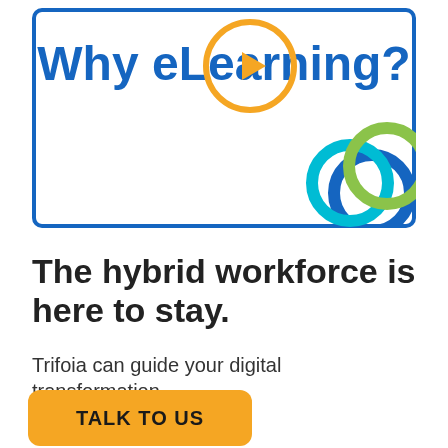[Figure (illustration): A framed box with blue border containing the text 'Why eLearning?' in bold blue, with a golden/orange circle outline overlapping the text in the center, and interlocking blue and green ring graphics in the bottom-right corner.]
The hybrid workforce is here to stay.
Trifoia can guide your digital transformation.
[Figure (other): An orange/amber rounded rectangle button with bold dark text reading 'TALK TO US']